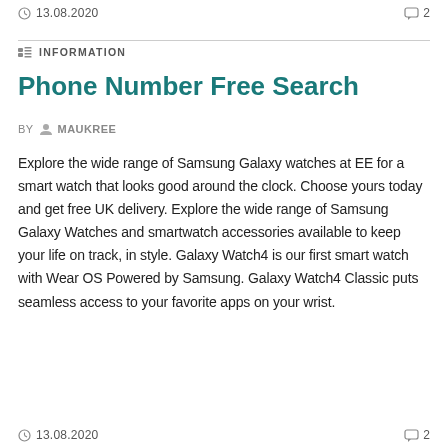13.08.2020   2
INFORMATION
Phone Number Free Search
BY MAUKREE
Explore the wide range of Samsung Galaxy watches at EE for a smart watch that looks good around the clock. Choose yours today and get free UK delivery. Explore the wide range of Samsung Galaxy Watches and smartwatch accessories available to keep your life on track, in style. Galaxy Watch4 is our first smart watch with Wear OS Powered by Samsung. Galaxy Watch4 Classic puts seamless access to your favorite apps on your wrist.
13.08.2020   2